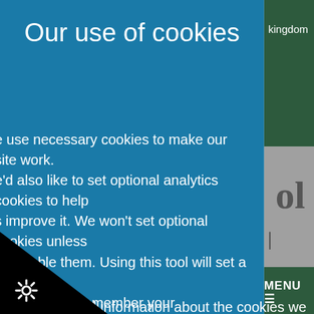Our use of cookies
We use necessary cookies to make our site work. We'd also like to set optional analytics cookies to help us improve it. We won't set optional cookies unless you enable them. Using this tool will set a cookie on your device to remember your preferences.
For more detailed information about the cookies we use, see our Cookies page
Necessary cookies
Necessary cookies enable core functionality such as security, network management, and accessibility. You may disable these by changing your browser settings, but this may affect how the website functions.